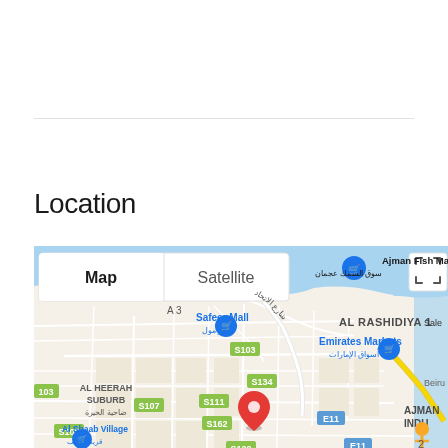Location
[Figure (map): Google Maps view showing Ajman area in UAE, centered near Al Heerah Suburb and Al Rashidiya 1. Shows landmarks including Ajman Fish Market, Safeer Mall, Emirates Markets, Al Shaab Village. Road labels include S103, S107, S111, S120, S134, S162, E11. Map/Satellite toggle and fullscreen button visible at top.]